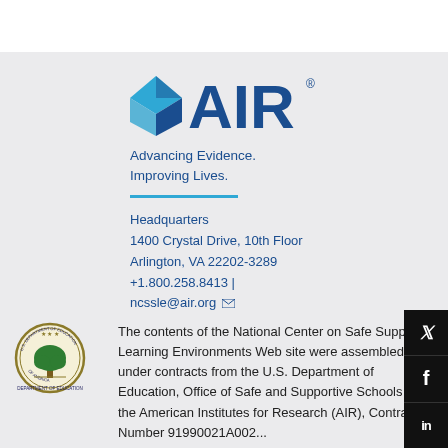[Figure (logo): AIR (American Institutes for Research) logo with diamond/prism icon and 'AIR' text in dark blue]
Advancing Evidence.
Improving Lives.
Headquarters
1400 Crystal Drive, 10th Floor
Arlington, VA 22202-3289
+1.800.258.8413 |
ncssle@air.org
[Figure (logo): U.S. Department of Education seal — circular green tree emblem]
The contents of the National Center on Safe Supportive Learning Environments Web site were assembled under contracts from the U.S. Department of Education, Office of Safe and Supportive Schools to the American Institutes for Research (AIR), Contract Number 91990021A0020...